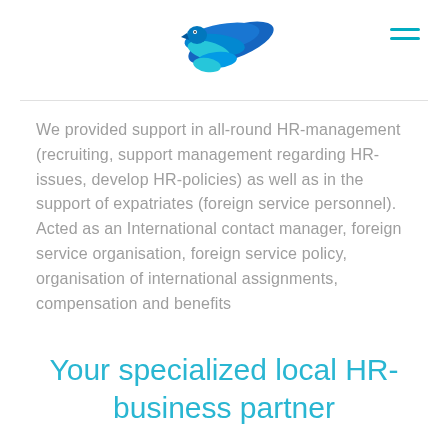[Figure (logo): Blue bird/eagle logo with layered feather wings facing left, in shades of blue and teal]
We provided support in all-round HR-management (recruiting, support management regarding HR-issues, develop HR-policies) as well as in the support of expatriates (foreign service personnel). Acted as an International contact manager, foreign service organisation, foreign service policy, organisation of international assignments, compensation and benefits
Your specialized local HR-business partner